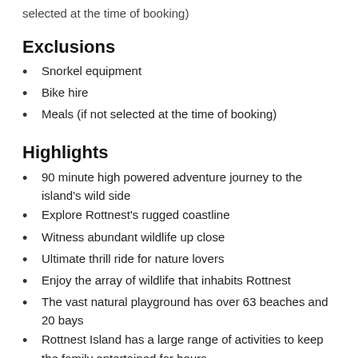selected at the time of booking)
Exclusions
Snorkel equipment
Bike hire
Meals (if not selected at the time of booking)
Highlights
90 minute high powered adventure journey to the island's wild side
Explore Rottnest's rugged coastline
Witness abundant wildlife up close
Ultimate thrill ride for nature lovers
Enjoy the array of wildlife that inhabits Rottnest
The vast natural playground has over 63 beaches and 20 bays
Rottnest Island has a large range of activities to keep the family entertained for hours